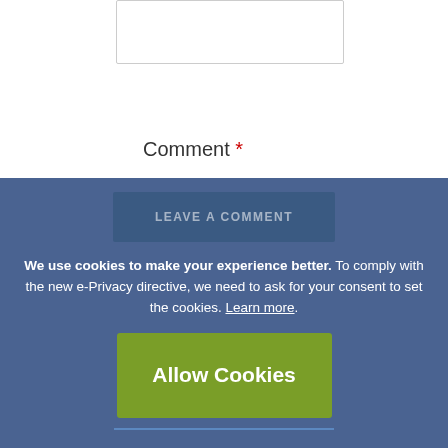[Figure (screenshot): Partially visible input text box at the top of the page, cut off at the top edge]
Comment *
[Figure (screenshot): Large comment textarea input box with resize handle in bottom-right corner]
We use cookies to make your experience better. To comply with the new e-Privacy directive, we need to ask for your consent to set the cookies. Learn more.
Allow Cookies